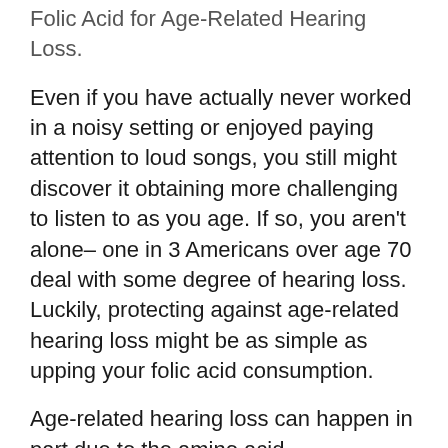Folic Acid for Age-Related Hearing Loss.
Even if you have actually never worked in a noisy setting or enjoyed paying attention to loud songs, you still might discover it obtaining more challenging to listen to as you age. If so, you aren't alone– one in 3 Americans over age 70 deal with some degree of hearing loss. Luckily, protecting against age-related hearing loss might be as simple as upping your folic acid consumption.
Age-related hearing loss can happen in part due to the amino acid homocysteine. This important amino acid triggers hearing difficulty by minimizing blood flow to the internal ear.